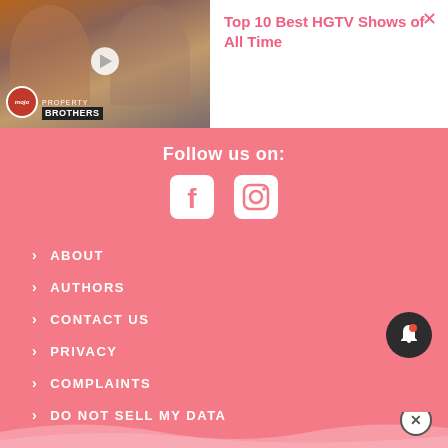[Figure (screenshot): Video thumbnail showing Property Brothers from WatchMojo with play button overlay]
Top 10 Best HGTV Shows of All Time
Follow us on:
[Figure (illustration): Facebook icon (white square rounded with f logo)]
[Figure (illustration): Instagram icon (white square rounded with camera logo)]
ABOUT
AUTHORS
CONTACT US
PRIVACY
COMPLAINTS
DO NOT SELL MY DATA